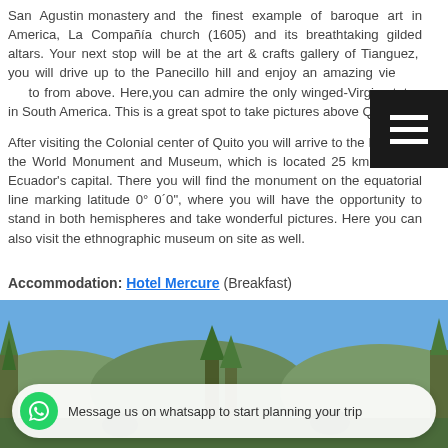San Agustin monastery and the finest example of baroque art in America, La Compañía church (1605) and its breathtaking gilded altars. Your next stop will be at the art & crafts gallery of Tianguez, you will drive up to the Panecillo hill and enjoy an amazing view of Quito from above. Here,you can admire the only winged-Virgin statue in South America. This is a great spot to take pictures above Quito.

After visiting the Colonial center of Quito you will arrive to the Middle of the World Monument and Museum, which is located 25 km north of Ecuador's capital. There you will find the monument on the equatorial line marking latitude 0° 0´0", where you will have the opportunity to stand in both hemispheres and take wonderful pictures. Here you can also visit the ethnographic museum on site as well.
Accommodation: Hotel Mercure (Breakfast)
[Figure (photo): Outdoor photo showing trees, greenery and blue sky, with a WhatsApp message bar overlay at the bottom reading 'Message us on whatsapp to start planning your trip']